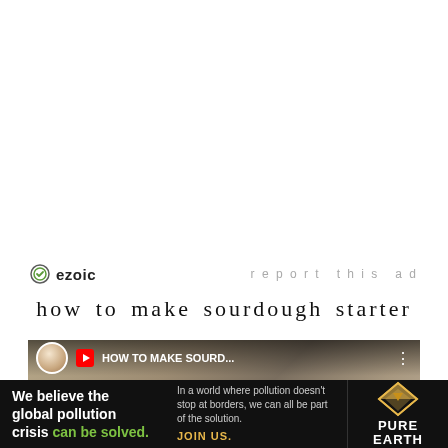[Figure (logo): Ezoic logo with circular icon and 'report this ad' text on the right]
how to make sourdough starter
[Figure (screenshot): YouTube video thumbnail for 'HOW TO MAKE SOURD...' showing a sourdough starter with play button overlay and video controls at bottom]
[Figure (infographic): Pure Earth advertisement banner: 'We believe the global pollution crisis can be solved.' with tagline and Pure Earth logo]